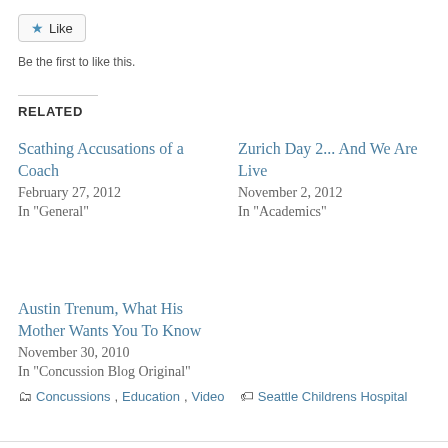[Figure (other): Like button widget with star icon]
Be the first to like this.
RELATED
Scathing Accusations of a Coach
February 27, 2012
In "General"
Zurich Day 2... And We Are Live
November 2, 2012
In "Academics"
Austin Trenum, What His Mother Wants You To Know
November 30, 2010
In "Concussion Blog Original"
Concussions, Education, Video   Seattle Childrens Hospital